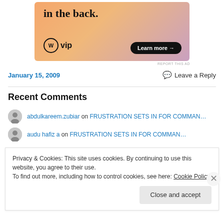[Figure (illustration): WordPress VIP advertisement banner with orange/purple gradient background. Text reads 'in the back.' with WordPress logo and 'vip' text, and a 'Learn more →' button.]
REPORT THIS AD
January 15, 2009
💬 Leave a Reply
Recent Comments
abdulkareem.zubiar on FRUSTRATION SETS IN FOR COMMAN…
audu hafiz a on FRUSTRATION SETS IN FOR COMMAN…
Privacy & Cookies: This site uses cookies. By continuing to use this website, you agree to their use.
To find out more, including how to control cookies, see here: Cookie Policy